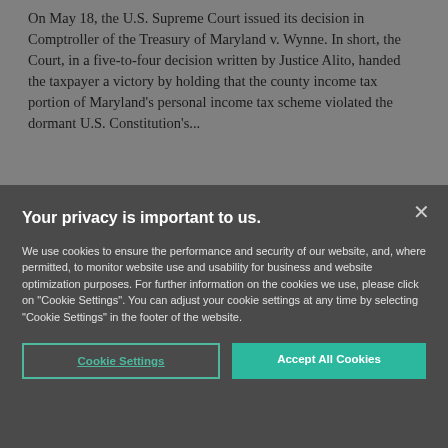On May 18, the U.S. Supreme Court issued its decision in Comptroller of the Treasury of Maryland v. Wynne. In short, the Court, in a five-to-four decision written by Justice Alito, handed the taxpayer a victory by holding that the county income tax portion of Maryland's personal income tax scheme violated the dormant U.S. Constitution's...
Your privacy is important to us.
We use cookies to ensure the performance and security of our website, and, where permitted, to monitor website use and usability for business and website optimization purposes. For further information on the cookies we use, please click on "Cookie Settings". You can adjust your cookie settings at any time by selecting "Cookie Settings" in the footer of the website.